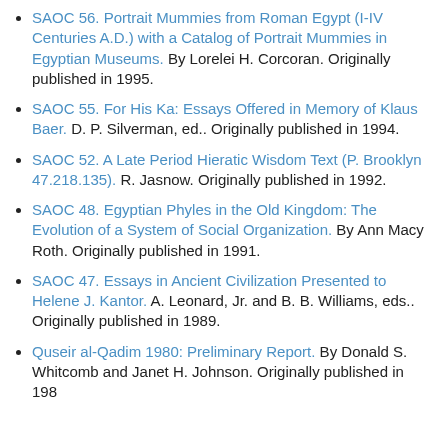SAOC 56. Portrait Mummies from Roman Egypt (I-IV Centuries A.D.) with a Catalog of Portrait Mummies in Egyptian Museums. By Lorelei H. Corcoran. Originally published in 1995.
SAOC 55. For His Ka: Essays Offered in Memory of Klaus Baer. D. P. Silverman, ed.. Originally published in 1994.
SAOC 52. A Late Period Hieratic Wisdom Text (P. Brooklyn 47.218.135). R. Jasnow. Originally published in 1992.
SAOC 48. Egyptian Phyles in the Old Kingdom: The Evolution of a System of Social Organization. By Ann Macy Roth. Originally published in 1991.
SAOC 47. Essays in Ancient Civilization Presented to Helene J. Kantor. A. Leonard, Jr. and B. B. Williams, eds.. Originally published in 1989.
Quseir al-Qadim 1980: Preliminary Report. By Donald S. Whitcomb and Janet H. Johnson. Originally published in 198...